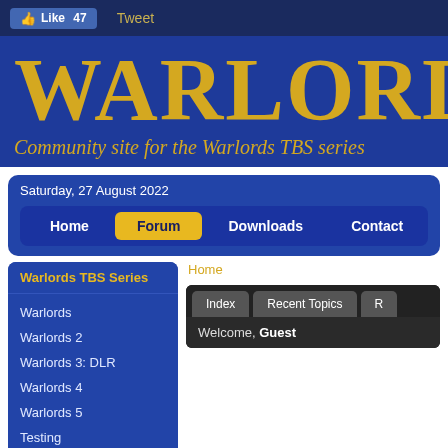Like 47  Tweet
WARLORDS
Community site for the Warlords TBS series
Saturday, 27 August 2022
Home  Forum  Downloads  Contact
Warlords TBS Series
Warlords
Warlords 2
Warlords 3: DLR
Warlords 4
Warlords 5
Testing
Home ▶ Forum
Index  Recent Topics  R
Welcome, Guest